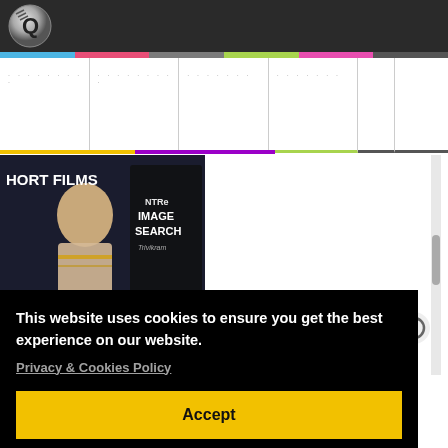[Figure (logo): iQlik Movies logo - circular metallic Q logo on dark header bar]
[Figure (screenshot): Navigation tab bar with colored segment indicators (yellow, purple, grey, pink, green, dark)]
[Figure (photo): Article thumbnail showing film poster - Rashmika in saree with NTR30 movie search text overlay, labeled SHORT FILMS]
Rashmika, The First Choice Of #NTR30?
By iQlik Movies - 21 February 2020 16:16:54
Rashmika's name is consideration for Young Tiger NTR's next
This website uses cookies to ensure you get the best experience on our website.
Privacy & Cookies Policy
Accept